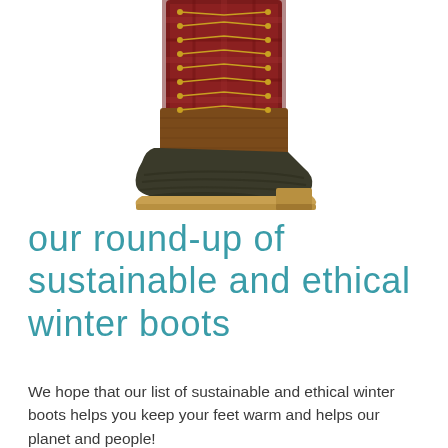[Figure (photo): A tall lace-up winter boot with brown leather lower section with rubber toe cap and sole, and a dark red/burgundy plaid fabric upper shaft. Gold-colored lace hooks and tan laces. White background product photo, cropped to show the boot from approximately mid-calf down.]
our round-up of sustainable and ethical winter boots
We hope that our list of sustainable and ethical winter boots helps you keep your feet warm and helps our planet and people!